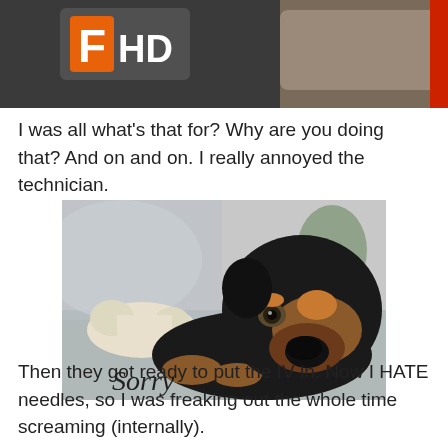[Figure (photo): Top cropped screenshot showing a dark background with an orange and white 'F HD' logo/button in the upper left corner, suggesting a video player interface.]
I was all what's that for? Why are you doing that? And on and on. I really annoyed the technician.
[Figure (photo): A photo of a black and tan dog (Rottweiler mix) lying on the floor with a rawhide bone, looking sad at the camera. The word 'Sorry' is written in cursive script at the bottom left of the image.]
Then they got ready to put the IV in. Now I HATE needles, so I was freaking out the whole time screaming (internally).